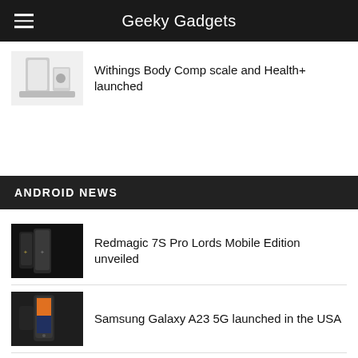Geeky Gadgets
Withings Body Comp scale and Health+ launched
ANDROID NEWS
Redmagic 7S Pro Lords Mobile Edition unveiled
Samsung Galaxy A23 5G launched in the USA
Nokia X30 5G, T21 tablet and more unveiled